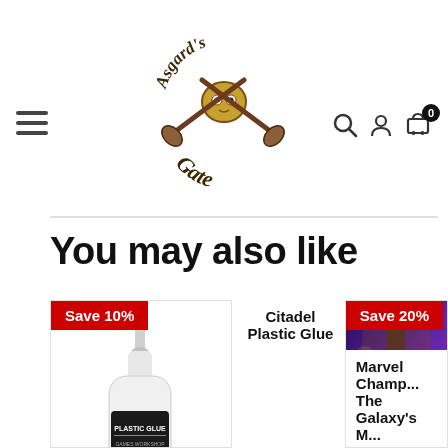[Figure (logo): Asgard's Gate logo with crossed axes and stylized text]
You may also like
[Figure (photo): Citadel Plastic Glue bottle with Save 10% badge]
Citadel Plastic Glue
[Figure (photo): Marvel Champions: The Galaxy's M... board game box with Save 20% badge]
Marvel Champions: The Galaxy's M...